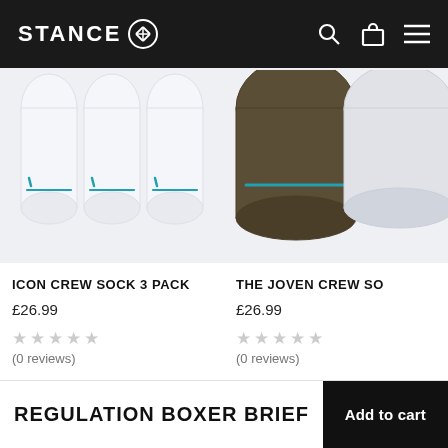STANCE
[Figure (photo): Icon Crew Sock 3 Pack product image showing three white socks with teal accent line]
[Figure (photo): The Joven Crew Sock product image showing dark olive/brown and grey socks with teal accent line]
ICON CREW SOCK 3 PACK
£26.99
★ ★ ★ ★ ★
(0 reviews)
THE JOVEN CREW SO
£26.99
★ ★ ★ ★ ★
(0 reviews)
REGULATION BOXER BRIEF
Add to cart